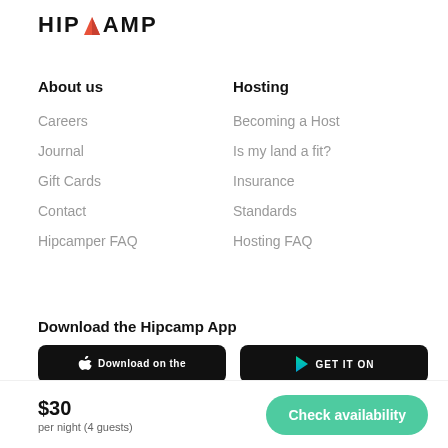HIPCAMP
About us
Careers
Journal
Gift Cards
Contact
Hipcamper FAQ
Hosting
Becoming a Host
Is my land a fit?
Insurance
Standards
Hosting FAQ
Download the Hipcamp App
[Figure (screenshot): Apple App Store download button with text 'Download on the']
[Figure (screenshot): Google Play Store download button with text 'GET IT ON']
$30
per night (4 guests)
Check availability